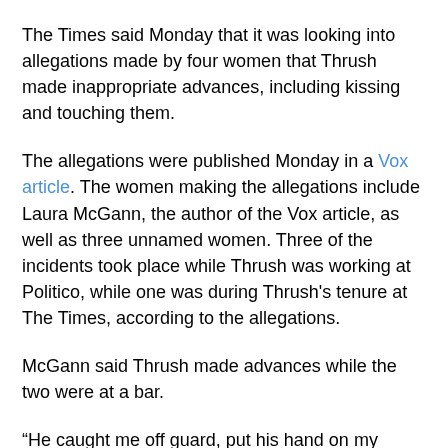The Times said Monday that it was looking into allegations made by four women that Thrush made inappropriate advances, including kissing and touching them.
The allegations were published Monday in a Vox article. The women making the allegations include Laura McGann, the author of the Vox article, as well as three unnamed women. Three of the incidents took place while Thrush was working at Politico, while one was during Thrush's tenure at The Times, according to the allegations.
McGann said Thrush made advances while the two were at a bar.
“He caught me off guard, put his hand on my thigh, and suddenly started kissing me,” she wrote. “Thrush says that he